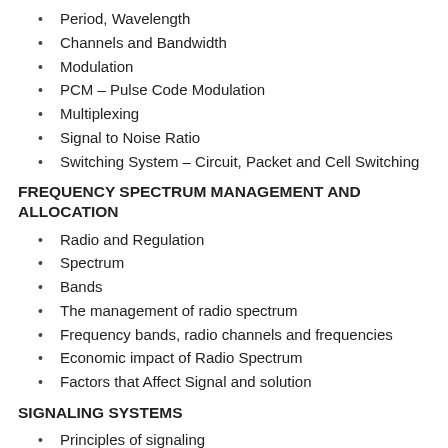Period, Wavelength
Channels and Bandwidth
Modulation
PCM – Pulse Code Modulation
Multiplexing
Signal to Noise Ratio
Switching System – Circuit, Packet and Cell Switching
FREQUENCY SPECTRUM MANAGEMENT AND ALLOCATION
Radio and Regulation
Spectrum
Bands
The management of radio spectrum
Frequency bands, radio channels and frequencies
Economic impact of Radio Spectrum
Factors that Affect Signal and solution
SIGNALING SYSTEMS
Principles of signaling
Signaling Techniques
Signaling Call Flows
Signaling System No. 7 (SS7)
SS7 Network Architecture